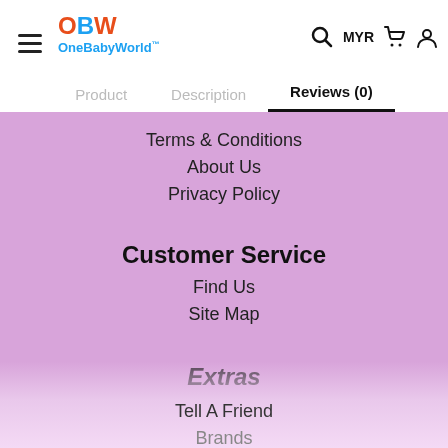OneBabyWorld™ — MYR
Product | Description | Reviews (0)
Terms & Conditions
About Us
Privacy Policy
Customer Service
Find Us
Site Map
Extras
Tell A Friend
Brands
Gift Vouchers